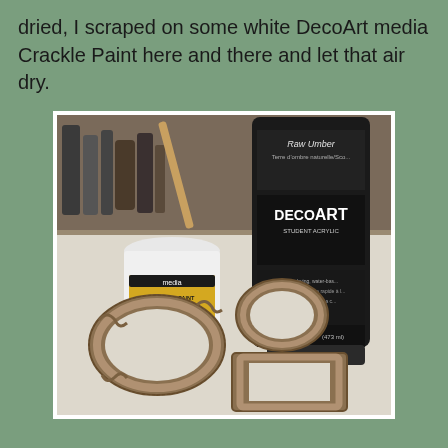dried, I scraped on some white DecoArt media Crackle Paint here and there and let that air dry.
[Figure (photo): Photo showing art supplies on a table: a large black DecoArt Student Acrylic paint bottle labeled 'Raw Umber', a small white DecoArt media jar with yellow label, and three decorative mini frames (two oval, one rectangular) with crackled metallic finish laid on a white surface.]